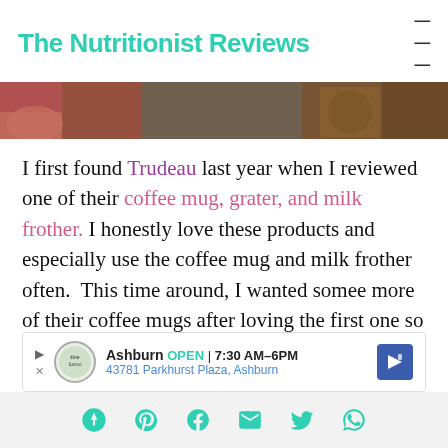The Nutritionist Reviews
[Figure (photo): Cropped photo showing coffee mugs and kitchen items on a surface, partial view at top of page]
I first found Trudeau last year when I reviewed one of their coffee mug, grater, and milk frother. I honestly love these products and especially use the coffee mug and milk frother often.  This time around, I wanted somee more of their coffee mugs after loving the first one so much and I also
[Figure (other): Advertisement banner: Ashburn OPEN 7:30AM-6PM, 43781 Parkhurst Plaza, Ashburn, with logo and navigation arrow]
Social share icons: Pinterest, Facebook, Email, Twitter, WhatsApp